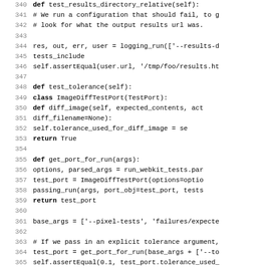[Figure (screenshot): Source code listing showing Python test methods: test_results_directory_relative and test_tolerance, with line numbers 340-371.]